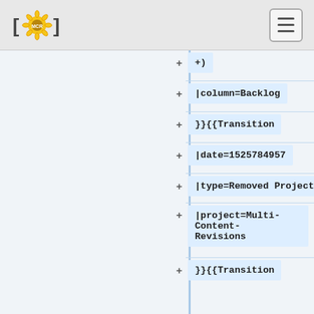MCR logo and hamburger menu
+)
+ |column=Backlog
+ }}{{Transition
+ |date=1525784957
+ |type=Removed Project
+ |project=Multi-Content-Revisions
+ }}{{Transition
+ |date=1525784957
+ |type=Added Project
+ |project=Multi-Content-Revisions (MCR-SDC Storage Layer - phase 1)